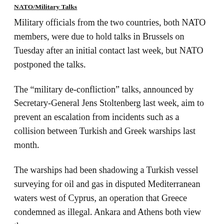NATO/Military Talks
Military officials from the two countries, both NATO members, were due to hold talks in Brussels on Tuesday after an initial contact last week, but NATO postponed the talks.
The “military de-confliction” talks, announced by Secretary-General Jens Stoltenberg last week, aim to prevent an escalation from incidents such as a collision between Turkish and Greek warships last month.
The warships had been shadowing a Turkish vessel surveying for oil and gas in disputed Mediterranean waters west of Cyprus, an operation that Greece condemned as illegal. Ankara and Athens both view the